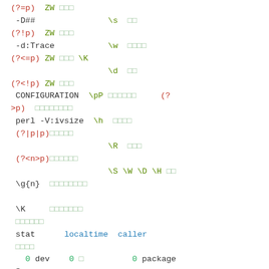(?=p)  ZW □□□
-D##               \s  □□
(?!p)  ZW □□□
-d:Trace           \w  □□□□
(?<=p) ZW □□□  \K
                   \d  □□
(?<!p) ZW □□□
 CONFIGURATION  \pP □□□□□□     (?>p)  □□□□□□□□
 perl -V:ivsize  \h  □□□□
 (?|p|p)□□□□□
                   \R  □□□
 (?<n>p)□□□□□□
                   \S \W \D \H □□
 \g{n}  □□□□□□□□

 \K     □□□□□□□
 □□□□□□
 stat      localtime  caller
 □□□□
   0 dev    0 □          0 package
 $_    □□□□□□□